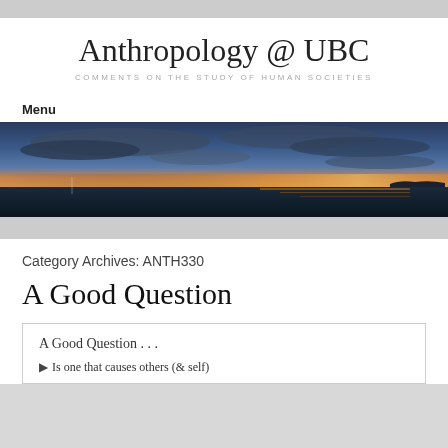Anthropology @ UBC
COMMENTS ON THE STUDY OF HUMAN SOCIETIES
Menu
[Figure (photo): Panoramic photograph of a calm seascape at dusk/dawn with dramatic clouds and orange horizon glow, dark water in foreground, small island silhouette on right.]
Category Archives: ANTH330
A Good Question
A Good Question . . .
Is one that causes others (& self)